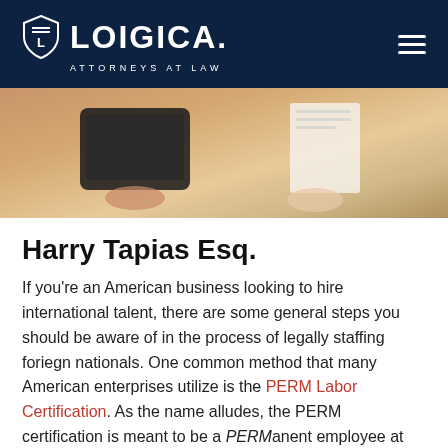[Figure (logo): Loigica Attorneys at Law logo with shield icon on dark navy header, with hamburger menu icon on the right]
[Figure (photo): Two people in a meeting, one holding a tablet and the other holding papers, warm-toned photo]
Harry Tapias Esq.
If you're an American business looking to hire international talent, there are some general steps you should be aware of in the process of legally staffing foriegn nationals. One common method that many American enterprises utilize is the PERM Labor Certification. As the name alludes, the PERM certification is meant to be a PERManent employee at your company. It's also a pathway for foreign